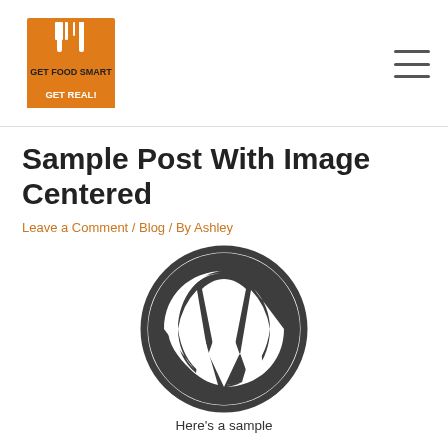[Figure (logo): Get Food Smart Get Real! logo with fork and knife icon in orange, text below]
Sample Post With Image Centered
Leave a Comment / Blog / By Ashley
[Figure (logo): WordPress logo — circular icon with W letter mark in dark gray]
Here's a sample